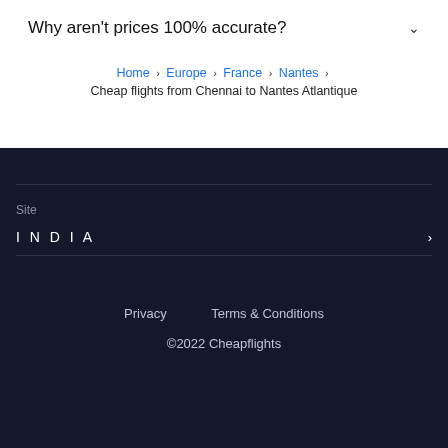Why aren't prices 100% accurate?
Home › Europe › France › Nantes › Cheap flights from Chennai to Nantes Atlantique
Site
INDIA
Privacy   Terms & Conditions   ©2022 Cheapflights